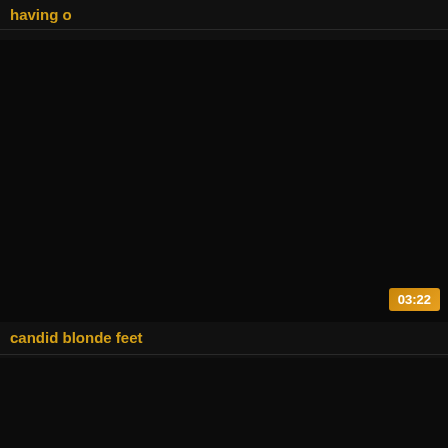having o
[Figure (screenshot): Dark video thumbnail, black background, with a golden duration badge showing 03:22 in the bottom right corner]
candid blonde feet
[Figure (screenshot): Dark video thumbnail, black background, partially visible at bottom of page]